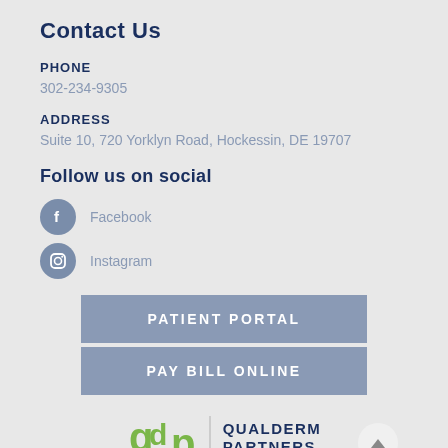Contact Us
PHONE
302-234-9305
ADDRESS
Suite 10, 720 Yorklyn Road, Hockessin, DE 19707
Follow us on social
Facebook
Instagram
PATIENT PORTAL
PAY BILL ONLINE
[Figure (logo): QDP Qualderm Partners logo with green letters and dark blue text]